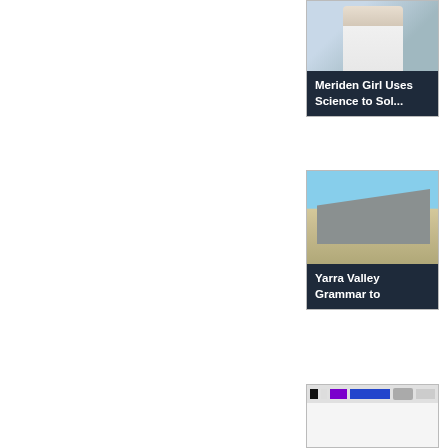[Figure (photo): Photo of a person in a white coat (doctor/scientist) holding a tablet, with a building in the background]
Meriden Girl Uses Science to Sol...
[Figure (photo): Photo of a modern school building with a distinctive angular roof and outdoor walkway under blue sky]
Yarra Valley Grammar to
[Figure (screenshot): Screenshot of a webpage or UI with navigation bar showing purple and blue elements and a profile photo]